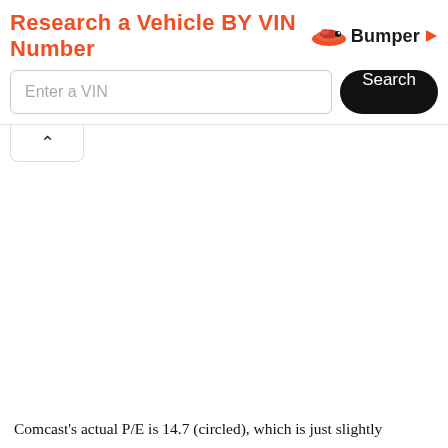[Figure (screenshot): Advertisement banner for Bumper VIN lookup service. Contains bold orange text 'Research a Vehicle BY VIN Number', the Bumper logo with chameleon icon, a text input field labeled 'Enter a VIN', and a black rounded 'Search' button.]
[Figure (screenshot): A collapse/chevron-up tab button below the ad banner.]
Comcast's actual P/E is 14.7 (circled), which is just slightly